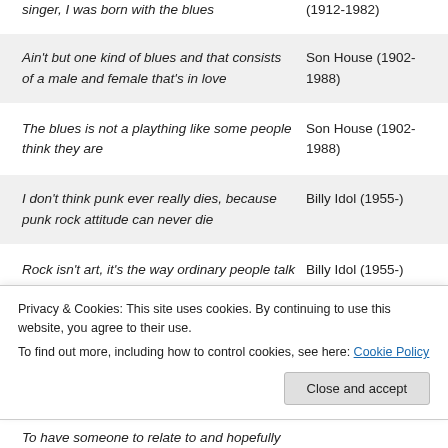singer, I was born with the blues — (1912-1982)
| Quote | Author |
| --- | --- |
| Ain't but one kind of blues and that consists of a male and female that's in love | Son House (1902-1988) |
| The blues is not a plaything like some people think they are | Son House (1902-1988) |
| I don't think punk ever really dies, because punk rock attitude can never die | Billy Idol (1955-) |
| Rock isn't art, it's the way ordinary people talk | Billy Idol (1955-) |
Privacy & Cookies: This site uses cookies. By continuing to use this website, you agree to their use. To find out more, including how to control cookies, see here: Cookie Policy
Close and accept
To have someone to relate to and hopefully